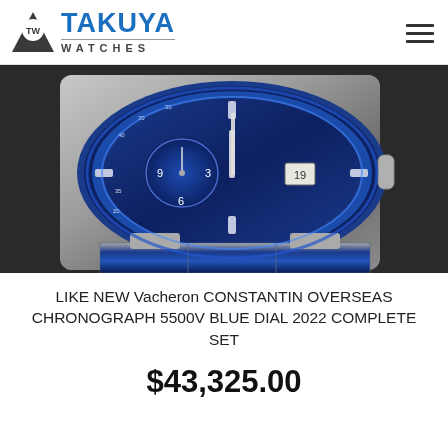TAKUYA WATCHES
[Figure (photo): Close-up photograph of a Vacheron Constantin Overseas Chronograph watch with blue dial and steel bracelet on a dark surface]
LIKE NEW Vacheron CONSTANTIN OVERSEAS CHRONOGRAPH 5500V BLUE DIAL 2022 COMPLETE SET
$43,325.00